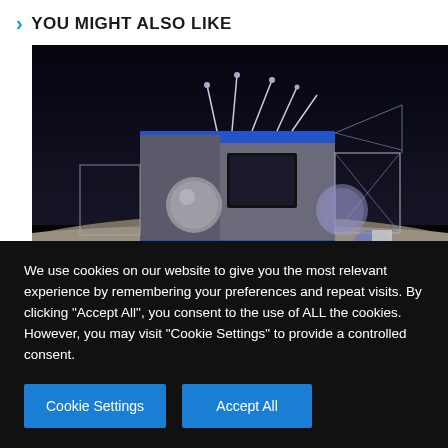> YOU MIGHT ALSO LIKE
[Figure (photo): Rendering of a lunar lander spacecraft on the surface of the moon against a black starry background. The lander has a gray boxy structure with blue trim and multiple antennas on top, with solar panels and structural supports visible.]
We use cookies on our website to give you the most relevant experience by remembering your preferences and repeat visits. By clicking "Accept All", you consent to the use of ALL the cookies. However, you may visit "Cookie Settings" to provide a controlled consent.
Cookie Settings   Accept All